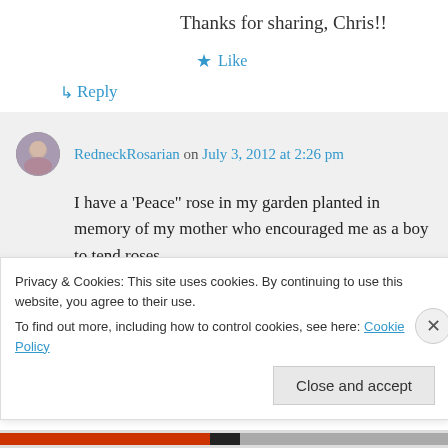Thanks for sharing, Chris!!
★ Like
↳ Reply
RedneckRosarian on July 3, 2012 at 2:26 pm
I have a 'Peace" rose in my garden planted in memory of my mother who encouraged me as a boy to tend roses.
The story of this rose is such an incredible
Privacy & Cookies: This site uses cookies. By continuing to use this website, you agree to their use.
To find out more, including how to control cookies, see here: Cookie Policy
Close and accept